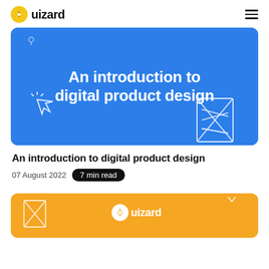uizard
[Figure (illustration): Blue banner image with white bold text 'An introduction to digital product design' and decorative white line icons of a cursor and a wireframe/document on a blue background]
An introduction to digital product design
07 August 2022   7 min read
[Figure (illustration): Orange/yellow banner card with uizard logo and decorative icons, partially visible at bottom of page]